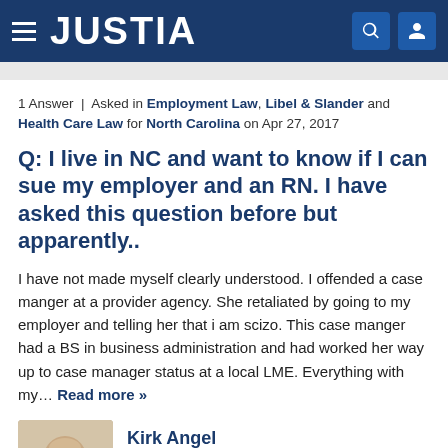JUSTIA
1 Answer | Asked in Employment Law, Libel & Slander and Health Care Law for North Carolina on Apr 27, 2017
Q: I live in NC and want to know if I can sue my employer and an RN. I have asked this question before but apparently..
I have not made myself clearly understood. I offended a case manger at a provider agency. She retaliated by going to my employer and telling her that i am scizo. This case manger had a BS in business administration and had worked her way up to case manager status at a local LME. Everything with my… Read more »
[Figure (photo): Headshot photo of Kirk Angel, a bald man]
Kirk Angel
answered on May 8, 2017